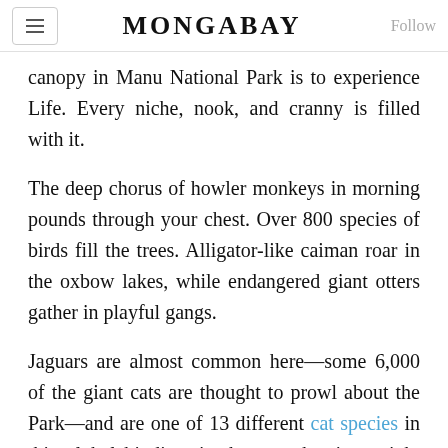MONGABAY
canopy in Manu National Park is to experience Life. Every niche, nook, and cranny is filled with it.
The deep chorus of howler monkeys in morning pounds through your chest. Over 800 species of birds fill the trees. Alligator-like caiman roar in the oxbow lakes, while endangered giant otters gather in playful gangs.
Jaguars are almost common here—some 6,000 of the giant cats are thought to prowl about the Park—and are one of 13 different cat species in this global biodiversity hotspot that just might be the most profound expression